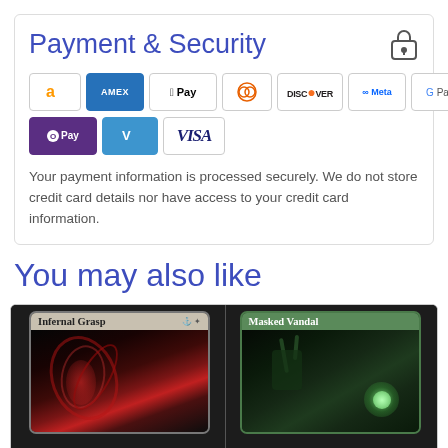Payment & Security
[Figure (infographic): Payment method logos: Amazon, Amex, Apple Pay, Diners, Discover, Meta Pay, Google Pay, Mastercard, PayPal, OPay, Venmo, Visa]
Your payment information is processed securely. We do not store credit card details nor have access to your credit card information.
You may also like
[Figure (illustration): Magic: The Gathering card - Infernal Grasp, showing dark fantasy artwork with red swirling figure]
[Figure (illustration): Magic: The Gathering card - Masked Vandal, showing green fantasy artwork with horned masked figure holding glowing orb]